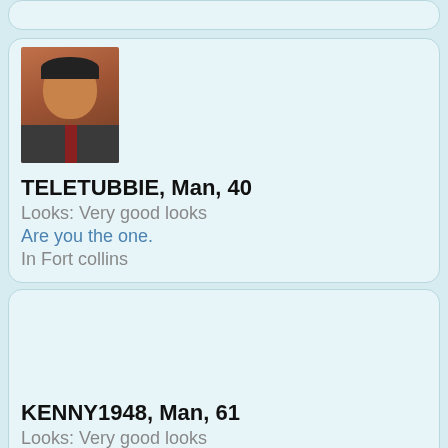[Figure (photo): Partial top of a dating profile card, cropped at top of page]
[Figure (photo): Profile photo of a middle-aged man in a suit with tie, brownish-orange background]
TELETUBBIE, Man, 40
Looks: Very good looks
Are you the one.
In Fort collins
KENNY1948, Man, 61
Looks: Very good looks
LOOKING FOR THAT SPECIAL LADY AND SHE DOES NOT HAVE TO BE PERFECT. WILLING TO RELOCATE IF YOU ARE THE